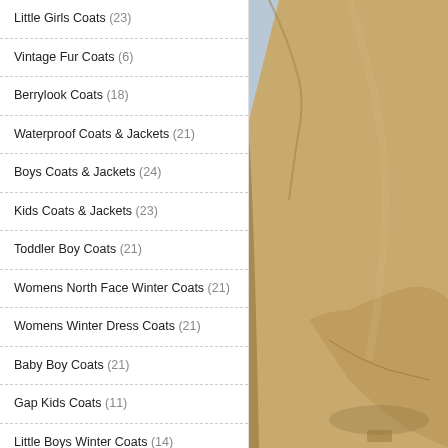Little Girls Coats (23)
Vintage Fur Coats (6)
Berrylook Coats (18)
Waterproof Coats & Jackets (21)
Boys Coats & Jackets (24)
Kids Coats & Jackets (23)
Toddler Boy Coats (21)
Womens North Face Winter Coats (21)
Womens Winter Dress Coats (21)
Baby Boy Coats (21)
Gap Kids Coats (11)
Little Boys Winter Coats (14)
Best Kids Winter Coats (14)
Infant Coats Boy (11)
Macys Boys Coats (28)
[Figure (photo): A close-up photo of a tan/khaki coat sleeve and lower body portion against a light blue-grey background. The coat appears to be a trench coat or similar style garment.]